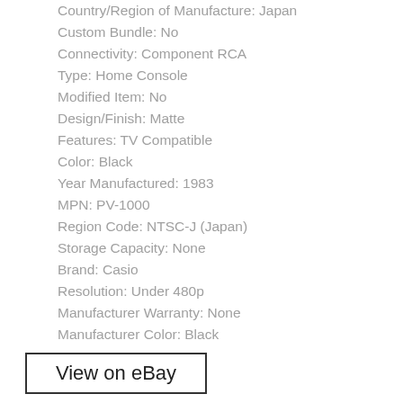Country/Region of Manufacture: Japan
Custom Bundle: No
Connectivity: Component RCA
Type: Home Console
Modified Item: No
Design/Finish: Matte
Features: TV Compatible
Color: Black
Year Manufactured: 1983
MPN: PV-1000
Region Code: NTSC-J (Japan)
Storage Capacity: None
Brand: Casio
Resolution: Under 480p
Manufacturer Warranty: None
Manufacturer Color: Black
View on eBay